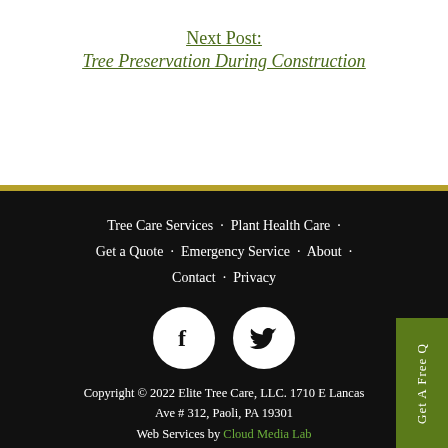Next Post:
Tree Preservation During Construction
Tree Care Services · Plant Health Care · Get a Quote · Emergency Service · About · Contact · Privacy
[Figure (illustration): Facebook and Twitter social media icon circles in white on dark background]
Copyright © 2022 Elite Tree Care, LLC. 1710 E Lancaster Ave # 312, Paoli, PA 19301
Web Services by Cloud Media Lab